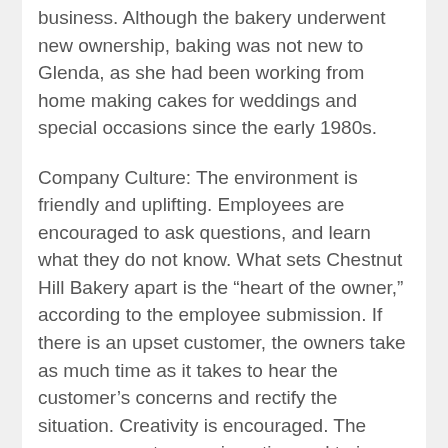business. Although the bakery underwent new ownership, baking was not new to Glenda, as she had been working from home making cakes for weddings and special occasions since the early 1980s.
Company Culture: The environment is friendly and uplifting. Employees are encouraged to ask questions, and learn what they do not know. What sets Chestnut Hill Bakery apart is the “heart of the owner,” according to the employee submission. If there is an upset customer, the owners take as much time as it takes to hear the customer’s concerns and rectify the situation. Creativity is encouraged. The owner supports experimenting and trying new ideas, which leads to new products being offered almost every day.
Community Development: Aside from donating donuts to Thomas Road Baptist Church on Sundays, they also give to charity runs and other organizations. Instead of